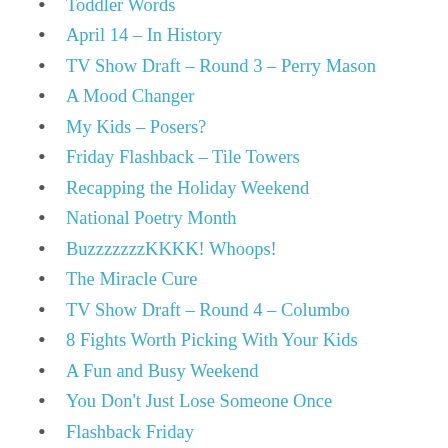Toddler Words
April 14 – In History
TV Show Draft – Round 3 – Perry Mason
A Mood Changer
My Kids – Posers?
Friday Flashback – Tile Towers
Recapping the Holiday Weekend
National Poetry Month
BuzzzzzzzKKKK! Whoops!
The Miracle Cure
TV Show Draft – Round 4 – Columbo
8 Fights Worth Picking With Your Kids
A Fun and Busy Weekend
You Don't Just Lose Someone Once
Flashback Friday
Finally – The Weekend
Not Exactly What I Had Planned
TV Show Draft – Round 5 – 30 Rock
Remembering Ernie
It Finally Got Me
Turntable Talk – Live Albums
International Tuba Day
Covid Update
A blog about … my blog